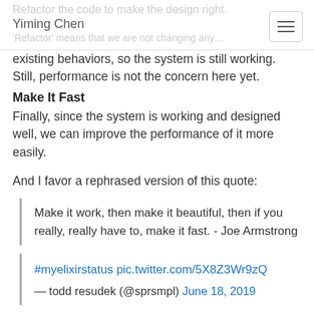Refactor the code to make the design right.
Yiming Chen
'Refactor' means that we are not changing any…
existing behaviors, so the system is still working. Still, performance is not the concern here yet.
Make It Fast
Finally, since the system is working and designed well, we can improve the performance of it more easily.
And I favor a rephrased version of this quote:
Make it work, then make it beautiful, then if you really, really have to, make it fast. - Joe Armstrong
#myelixirstatus pic.twitter.com/5X8Z3Wr9zQ
— todd resudek (@sprsmpl) June 18, 2019